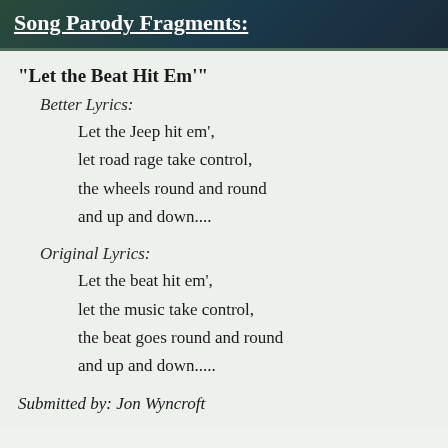Song Parody Fragments:
"Let the Beat Hit Em'"
Better Lyrics:
Let the Jeep hit em',
let road rage take control,
the wheels round and round
and up and down....
Original Lyrics:
Let the beat hit em',
let the music take control,
the beat goes round and round
and up and down.....
Submitted by: Jon Wyncroft